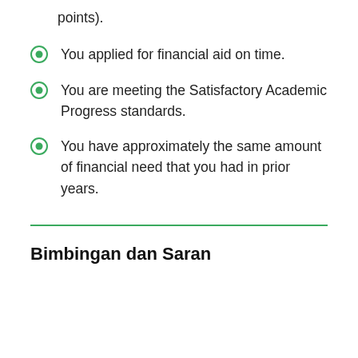points).
You applied for financial aid on time.
You are meeting the Satisfactory Academic Progress standards.
You have approximately the same amount of financial need that you had in prior years.
Bimbingan dan Saran